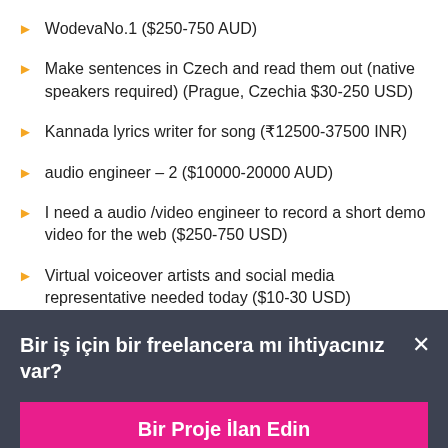WodevaNo.1 ($250-750 AUD)
Make sentences in Czech and read them out (native speakers required) (Prague, Czechia $30-250 USD)
Kannada lyrics writer for song (₹12500-37500 INR)
audio engineer – 2 ($10000-20000 AUD)
I need a audio /video engineer to record a short demo video for the web ($250-750 USD)
Virtual voiceover artists and social media representative needed today ($10-30 USD)
Bir iş için bir freelancera mı ihtiyacınız var?
Bir Proje İlan Edin